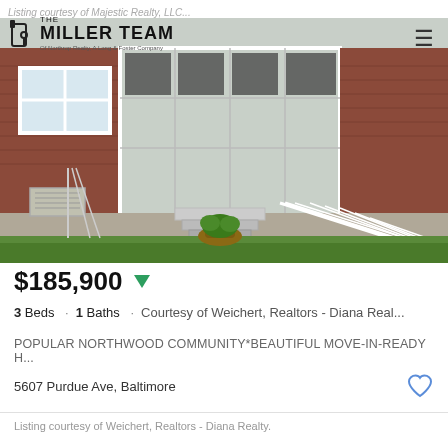Listing courtesy of Majestic Realty, LLC...
[Figure (logo): The Miller Team logo - Of Northrop Realty, A Long & Foster Company]
[Figure (photo): Exterior photo of brick row home with screened porch, white ramp, green lawn, and potted plant]
$185,900
3 Beds · 1 Baths · Courtesy of Weichert, Realtors - Diana Real...
POPULAR NORTHWOOD COMMUNITY*BEAUTIFUL MOVE-IN-READY H...
5607 Purdue Ave, Baltimore
Listing courtesy of Weichert, Realtors - Diana Realty.